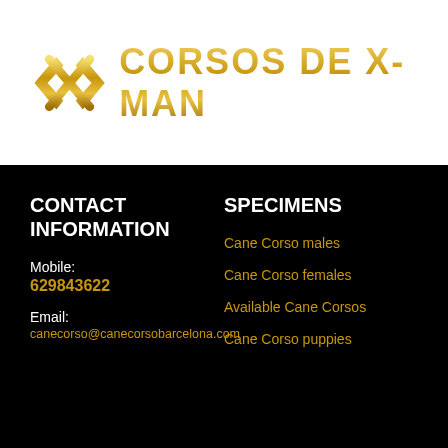[Figure (logo): Corsos de X-Man logo with golden X arrow icon and bold golden uppercase text 'CORSOS DE X-MAN']
CONTACT INFORMATION
SPECIMENS
Mobile:
629843622
Email:
canecorso@canecorsobarcelona.com
Cane Corso males
Cane Corso females
Available Cane Corsos
Cane Corso puppies